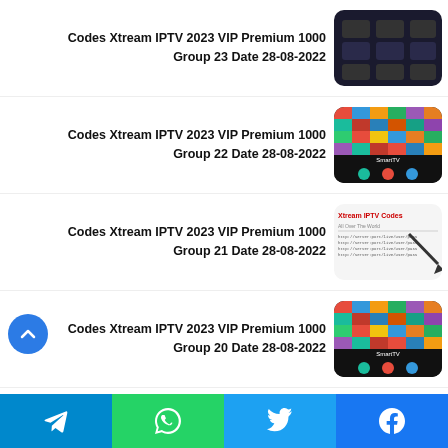Codes Xtream IPTV 2023 VIP Premium 1000 Group 23 Date 28-08-2022
Codes Xtream IPTV 2023 VIP Premium 1000 Group 22 Date 28-08-2022
Codes Xtream IPTV 2023 VIP Premium 1000 Group 21 Date 28-08-2022
Codes Xtream IPTV 2023 VIP Premium 1000 Group 20 Date 28-08-2022
LoveCine Premium is one of the best know Android apps on